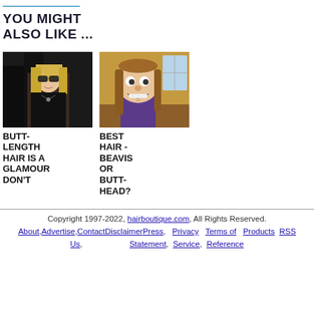YOU MIGHT ALSO LIKE ...
[Figure (photo): Photo of a woman with blonde hair wearing sunglasses and black clothing]
BUTT-LENGTH HAIR IS A GLAMOUR DON'T
[Figure (illustration): Cartoon illustration of Beavis or Butt-Head character with long hair]
BEST HAIR - BEAVIS OR BUTT-HEAD?
Copyright 1997-2022, hairboutique.com, All Rights Reserved. About, Advertise, Contact Disclaimer Press, Us, Privacy Statement, Terms of Service, Products, RSS Reference